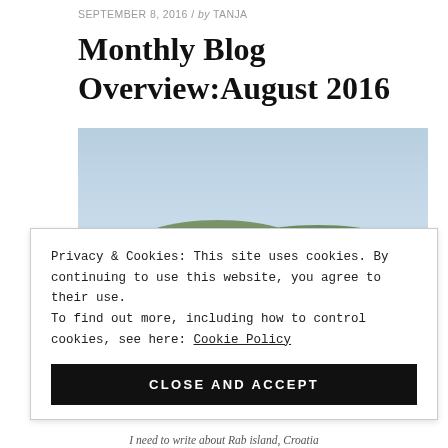SEPTEMBER 8, 2016 / by TANJA
Monthly Blog Overview:August 2016
[Figure (photo): Outdoor landscape photo showing a blue sky, green hills, and buildings of Rab island, Croatia in the foreground]
Privacy & Cookies: This site uses cookies. By continuing to use this website, you agree to their use.
To find out more, including how to control cookies, see here: Cookie Policy
CLOSE AND ACCEPT
I need to write about Rab island, Croatia